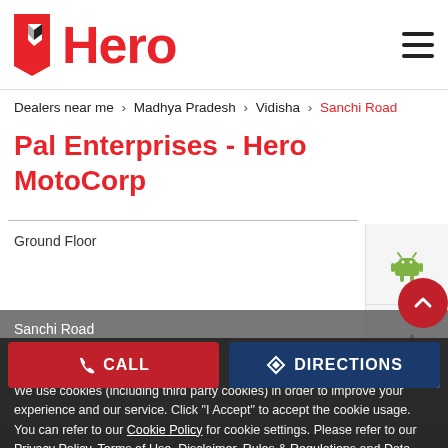[Figure (logo): Hero MotoCorp logo with red shield icon and red 'Hero' text]
Dealers near me > Madhya Pradesh > Vidisha > Sanchi Road
Pal Enterprises - Hero MotoCorp
Ground Floor
Sanchi Road
Vidisha - 464001
Closed for the day
Cookie Information
We use cookies (including third party cookies) in order to improve your experience and our service. Click "I Accept" to accept the cookie usage. You can refer to our Cookie Policy for cookie settings. Please refer to our Privacy Policy, Terms of Use, Disclaimer, Rules & Regulations and Data Collection Contract or more information on personal data usage.
CALL
DIRECTIONS
I ACCEPT